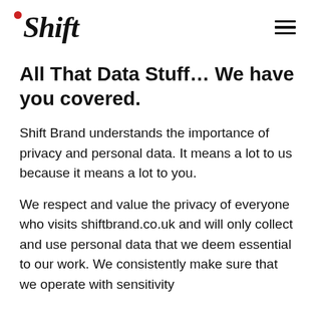Shift
All That Data Stuff… We have you covered.
Shift Brand understands the importance of privacy and personal data. It means a lot to us because it means a lot to you.
We respect and value the privacy of everyone who visits shiftbrand.co.uk and will only collect and use personal data that we deem essential to our work. We consistently make sure that we operate with sensitivity